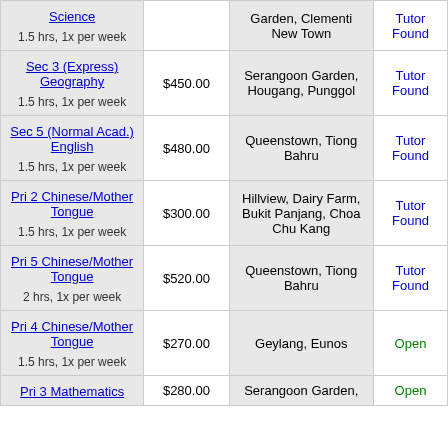| Subject | Price | Location | Status |
| --- | --- | --- | --- |
| Science
1.5 hrs, 1x per week |  | Garden, Clementi New Town | Tutor Found |
| Sec 3 (Express) Geography
1.5 hrs, 1x per week | $450.00 | Serangoon Garden, Hougang, Punggol | Tutor Found |
| Sec 5 (Normal Acad.) English
1.5 hrs, 1x per week | $480.00 | Queenstown, Tiong Bahru | Tutor Found |
| Pri 2 Chinese/Mother Tongue
1.5 hrs, 1x per week | $300.00 | Hillview, Dairy Farm, Bukit Panjang, Choa Chu Kang | Tutor Found |
| Pri 5 Chinese/Mother Tongue
2 hrs, 1x per week | $520.00 | Queenstown, Tiong Bahru | Tutor Found |
| Pri 4 Chinese/Mother Tongue
1.5 hrs, 1x per week | $270.00 | Geylang, Eunos | Open |
| Pri 3 Mathematics | $280.00 | Serangoon Garden, | Open |